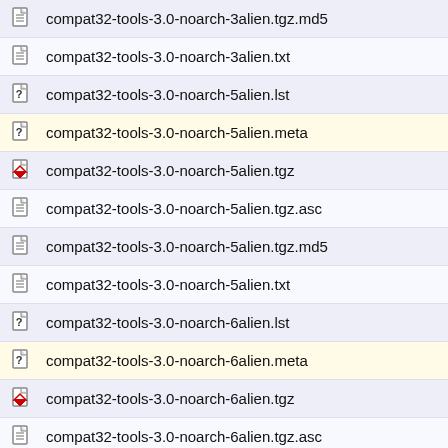compat32-tools-3.0-noarch-3alien.tgz.md5
compat32-tools-3.0-noarch-3alien.txt
compat32-tools-3.0-noarch-5alien.lst
compat32-tools-3.0-noarch-5alien.meta
compat32-tools-3.0-noarch-5alien.tgz
compat32-tools-3.0-noarch-5alien.tgz.asc
compat32-tools-3.0-noarch-5alien.tgz.md5
compat32-tools-3.0-noarch-5alien.txt
compat32-tools-3.0-noarch-6alien.lst
compat32-tools-3.0-noarch-6alien.meta
compat32-tools-3.0-noarch-6alien.tgz
compat32-tools-3.0-noarch-6alien.tgz.asc
compat32-tools-3.0-noarch-6alien.tgz.md5
compat32-tools-3.0-noarch-6alien.txt
compat32-tools-3.0-noarch-7alien.lst
compat32-tools-3.0-noarch-7alien.meta